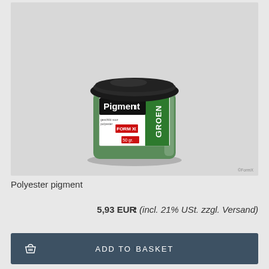[Figure (photo): A glass jar of green polyester pigment with a black lid. The label reads 'Pigment FORM X GROEN 50 gr.' with a green stripe on the right side. Watermark: FormX.]
Polyester pigment
5,93 EUR (incl. 21% USt. zzgl. Versand)
ADD TO BASKET